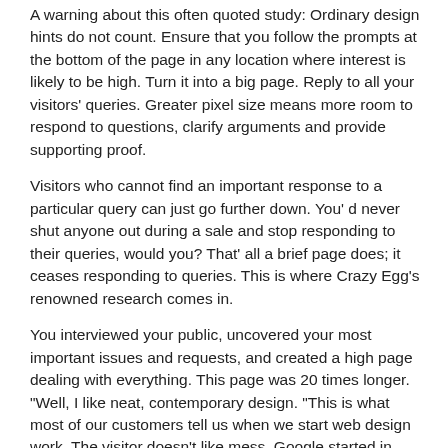A warning about this often quoted study: Ordinary design hints do not count. Ensure that you follow the prompts at the bottom of the page in any location where interest is likely to be high. Turn it into a big page. Reply to all your visitors' queries. Greater pixel size means more room to respond to questions, clarify arguments and provide supporting proof.
Visitors who cannot find an important response to a particular query can just go further down. You' d never shut anyone out during a sale and stop responding to their queries, would you? That' all a brief page does; it ceases responding to queries. This is where Crazy Egg's renowned research comes in.
You interviewed your public, uncovered your most important issues and requests, and created a high page dealing with everything. This page was 20 times longer. "Well, I like neat, contemporary design. "This is what most of our customers tell us when we start web design work. The visitor doesn't like mess. Google started in 2012 to find out what kinds of sites are considered nice for people.
It is a trial of simplicity with a very intricate name: the roll of optical comprehensiveness and prototypicity in the first